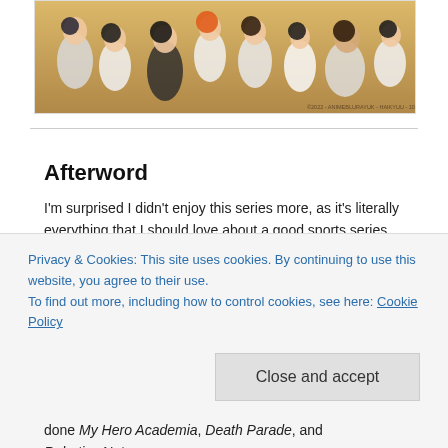[Figure (illustration): Anime group scene from Haikyuu showing multiple volleyball players in a gym setting, with characters huddled together on the floor. Watermark text visible in lower right corner.]
Afterword
I'm surprised I didn't enjoy this series more, as it's literally everything that I should love about a good sports series all in one package. Looking at it honestly, it probably was Hinata and Kageyama's characters that deterred my enjoyment a bit. I'll still definitely recommend, though! To all those interested in an emotional sports comedy with a well-rounded albeit
Privacy & Cookies: This site uses cookies. By continuing to use this website, you agree to their use.
To find out more, including how to control cookies, see here: Cookie Policy
Close and accept
done My Hero Academia, Death Parade, and Robotics;Notes